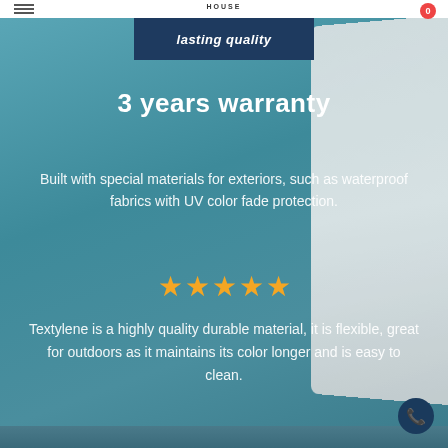HOUSE
lasting quality
3 years warranty
Built with special materials for exteriors, such as waterproof fabrics with UV color fade protection.
[Figure (other): Five orange/gold star rating icons]
Textylene is a highly quality durable material, it is flexible, great for outdoors as it maintains its color longer and is easy to clean.